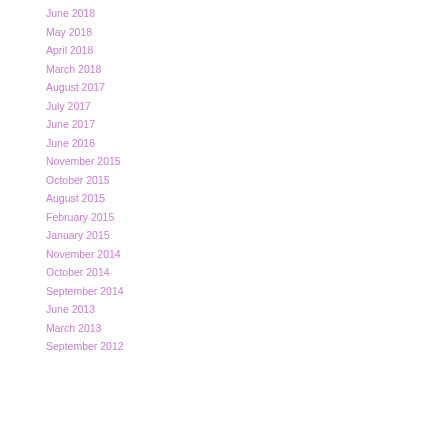June 2018
May 2018
April 2018
March 2018
August 2017
July 2017
June 2017
June 2016
November 2015
October 2015
August 2015
February 2015
January 2015
November 2014
October 2014
September 2014
June 2013
March 2013
September 2012